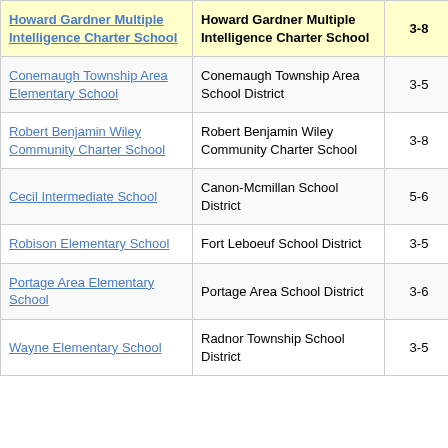| School | District | Grades | Value |
| --- | --- | --- | --- |
| Howard Gardner Multiple Intelligence Charter School | Howard Gardner Multiple Intelligence Charter School | 3-8 | -1. |
| Conemaugh Township Area Elementary School | Conemaugh Township Area School District | 3-5 | 6. |
| Robert Benjamin Wiley Community Charter School | Robert Benjamin Wiley Community Charter School | 3-8 | 3. |
| Cecil Intermediate School | Canon-Mcmillan School District | 5-6 | 2. |
| Robison Elementary School | Fort Leboeuf School District | 3-5 | 6. |
| Portage Area Elementary School | Portage Area School District | 3-6 | 5. |
| Wayne Elementary School | Radnor Township School District | 3-5 | 5. |